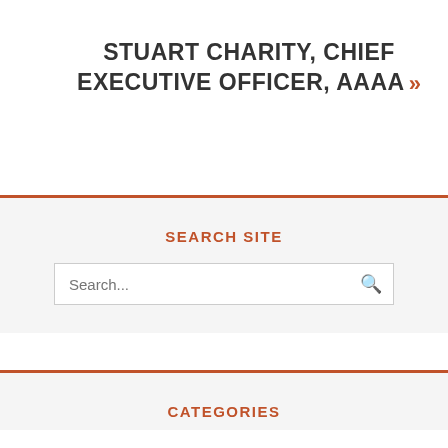STUART CHARITY, CHIEF EXECUTIVE OFFICER, AAAA »
SEARCH SITE
[Figure (other): Search input box with placeholder text 'Search...' and a search icon on the right]
CATEGORIES